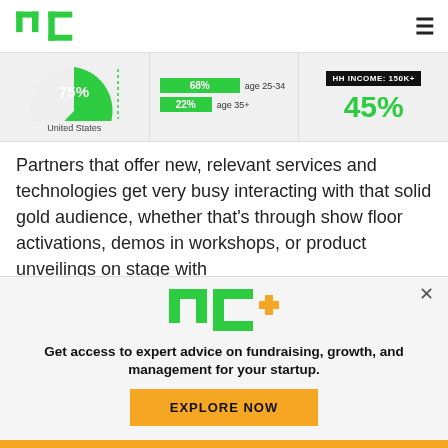TechCrunch logo and hamburger menu
[Figure (infographic): Stats banner with three panels: 75% United States pie chart, age demographics (68% age 25-34, 22% age 35+), and HH Income 150K+ at 45%]
Partners that offer new, relevant services and technologies get very busy interacting with that solid gold audience, whether that’s through show floor activations, demos in workshops, or product unveilings on stage with
[Figure (logo): TC+ logo in green]
Get access to expert advice on fundraising, growth, and management for your startup.
EXPLORE NOW